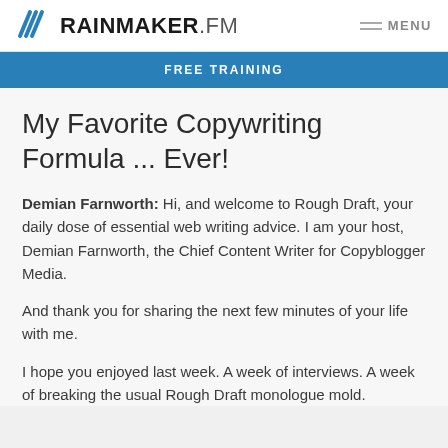RAINMAKER.FM  MENU
FREE TRAINING
My Favorite Copywriting Formula ... Ever!
Demian Farnworth: Hi, and welcome to Rough Draft, your daily dose of essential web writing advice. I am your host, Demian Farnworth, the Chief Content Writer for Copyblogger Media.
And thank you for sharing the next few minutes of your life with me.
I hope you enjoyed last week. A week of interviews. A week of breaking the usual Rough Draft monologue mold.